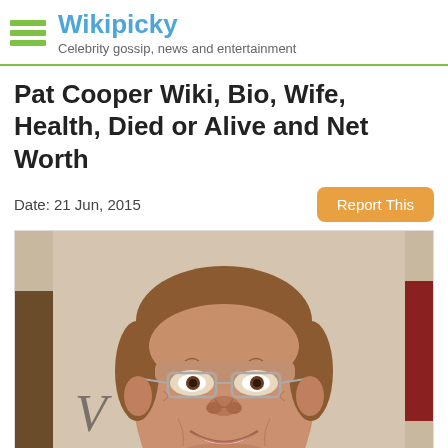Wikipicky — Celebrity gossip, news and entertainment
Pat Cooper Wiki, Bio, Wife, Health, Died or Alive and Net Worth
Date: 21 Jun, 2015
[Figure (photo): Portrait photo of Pat Cooper, an older man with glasses, short brown hair, wearing a light-colored blazer and dark shirt, smiling at camera, at an event with a logo backdrop.]